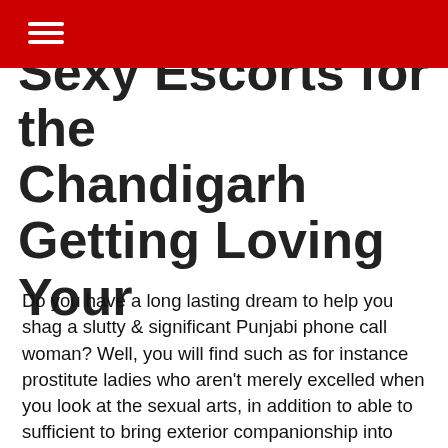Sexy Escorts for the Chandigarh Getting Loving Your
Do you have a long lasting dream to help you shag a slutty & significant Punjabi phone call woman? Well, you will find such as for instance prostitute ladies who aren’t merely excelled when you look at the sexual arts, in addition to able to sufficient to bring exterior companionship into individuals pubs regarding urban area.
Actually, you will see that the fresh government of those name people is designed for sin. The natural & delicious chest which have larger hard nipples are deserving procedure to understand more about. The fresh hourglass profile ones prostitutes in undies or equivalent outfit is considered the most erotic material to explore that you should not miss.